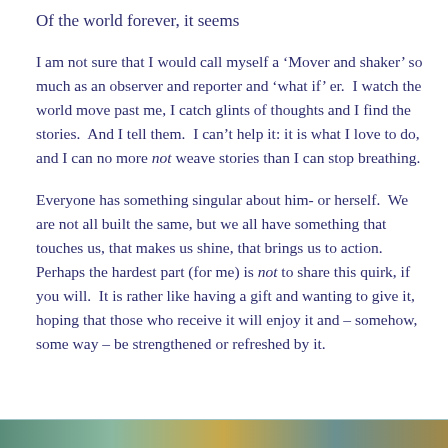Of the world forever, it seems
I am not sure that I would call myself a ‘Mover and shaker’ so much as an observer and reporter and ‘what if’ er.  I watch the world move past me, I catch glints of thoughts and I find the stories.  And I tell them.  I can’t help it: it is what I love to do, and I can no more not weave stories than I can stop breathing.
Everyone has something singular about him- or herself.  We are not all built the same, but we all have something that touches us, that makes us shine, that brings us to action.  Perhaps the hardest part (for me) is not to share this quirk, if you will.  It is rather like having a gift and wanting to give it, hoping that those who receive it will enjoy it and – somehow, some way – be strengthened or refreshed by it.
[Figure (photo): A decorative image strip at the bottom of the page showing a landscape or nature scene with green and golden tones.]